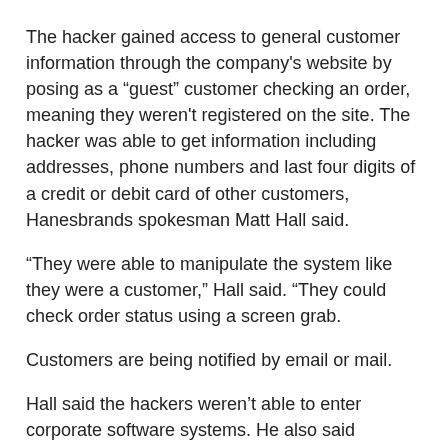The hacker gained access to general customer information through the company's website by posing as a “guest” customer checking an order, meaning they weren't registered on the site. The hacker was able to get information including addresses, phone numbers and last four digits of a credit or debit card of other customers, Hanesbrands spokesman Matt Hall said.
“They were able to manipulate the system like they were a customer,” Hall said. “They could check order status using a screen grab.
Customers are being notified by email or mail.
Hall said the hackers weren’t able to enter corporate software systems. He also said Hanesbrands was notified by the hacker “to let us know that it had been done.”
“We brought in cybersecurity personnel to determine if the vulnerability was there and the data was viewable, and it was,” Hall said.